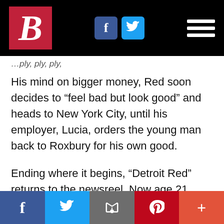B [logo] — navigation bar with Facebook and Twitter icons and hamburger menu
His mind on bigger money, Red soon decides to “feel bad but look good” and heads to New York City, until his employer, Lucia, orders the young man back to Roxbury for his own good.
Ending where it begins, “Detroit Red” returns to the newsreel. Now age 21, Malcolm has learned a thing or two, and sizes up the situation: With one gesture, he can become a cop killer, ending two lives, the detective’s
Share bar: Facebook, Twitter, Email, Pinterest, Plus